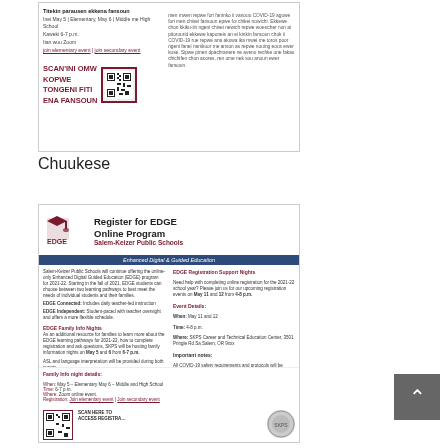[Figure (illustration): Chuukese language flyer for school registration event with QR code, scan text in Chuukese (SCAN'INI OMW KOPWE TONGENI FITI ENA FANSOUN), event details, and body text in Chuukese language]
Chuukese
[Figure (illustration): EDGE Online Program flyer for Salem-Keizer Public Schools with EDGE logo, registration info, EDGE Family Info Nights, EDGE Registration Support Nights (May 11 and 12, 4-8 p.m.), event details, important COVID-19 safety notes, family info night details, QR code, and Salem-Keizer seal]